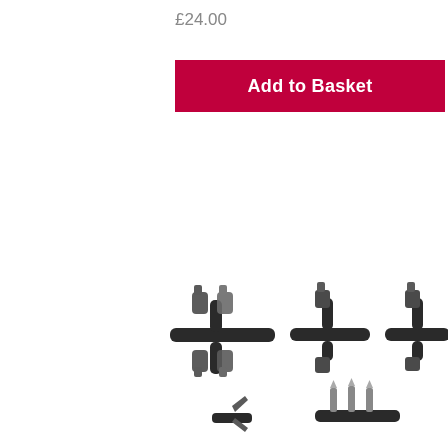£24.00
[Figure (other): Red 'Add to Basket' button with white bold text]
[Figure (photo): Product photo showing multiple metal pipe/tube connector clamp fittings in dark metal finish, including cross-shaped connectors with clips, T-shaped connectors, and a bar with multiple pins]